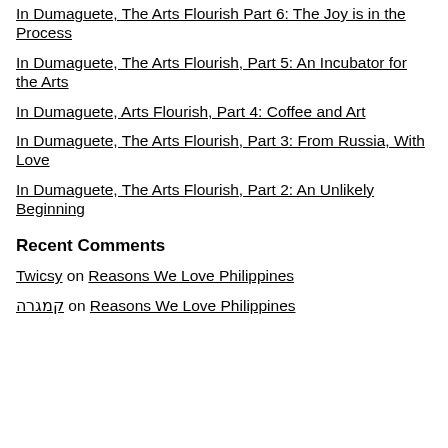In Dumaguete, The Arts Flourish Part 6: The Joy is in the Process
In Dumaguete, The Arts Flourish, Part 5: An Incubator for the Arts
In Dumaguete, Arts Flourish, Part 4: Coffee and Art
In Dumaguete, The Arts Flourish, Part 3: From Russia, With Love
In Dumaguete, The Arts Flourish, Part 2: An Unlikely Beginning
Recent Comments
Twicsy on Reasons We Love Philippines
קמגרה on Reasons We Love Philippines